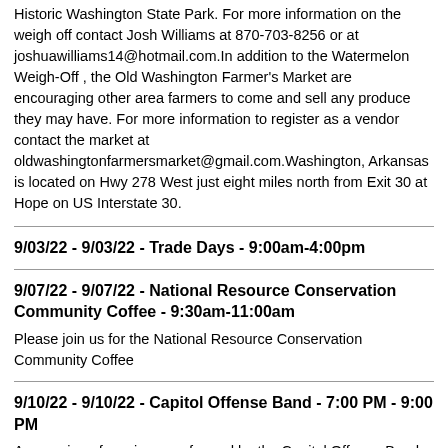Historic Washington State Park. For more information on the weigh off contact Josh Williams at 870-703-8256 or at joshuawilliams14@hotmail.com.In addition to the Watermelon Weigh-Off , the Old Washington Farmer's Market are encouraging other area farmers to come and sell any produce they may have. For more information to register as a vendor contact the market at oldwashingtonfarmersmarket@gmail.com.Washington, Arkansas is located on Hwy 278 West just eight miles north from Exit 30 at Hope on US Interstate 30.
9/03/22 - 9/03/22 - Trade Days - 9:00am-4:00pm
9/07/22 - 9/07/22 - National Resource Conservation Community Coffee - 9:30am-11:00am
Please join us for the National Resource Conservation Community Coffee
9/10/22 - 9/10/22 - Capitol Offense Band - 7:00 PM - 9:00 PM
An evening of music as performed by the Capitol Offense Band. Two Hope natives play in the band, and they are former Governor of Arkansas, Mike Huckabee and Marynell Branch! Tickets may be purchased online beginning August 14. Will update the online ticket